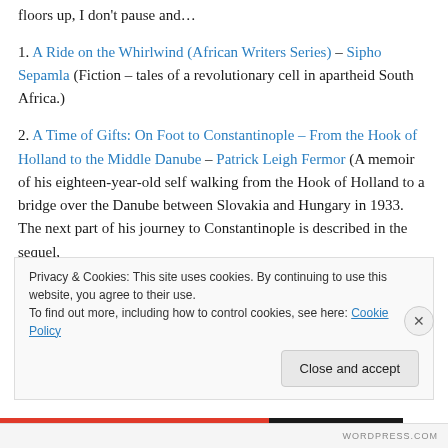floors up, I don't pause and…
1. A Ride on the Whirlwind (African Writers Series) – Sipho Sepamla (Fiction – tales of a revolutionary cell in apartheid South Africa.)
2. A Time of Gifts: On Foot to Constantinople – From the Hook of Holland to the Middle Danube – Patrick Leigh Fermor (A memoir of his eighteen-year-old self walking from the Hook of Holland to a bridge over the Danube between Slovakia and Hungary in 1933. The next part of his journey to Constantinople is described in the sequel,
Privacy & Cookies: This site uses cookies. By continuing to use this website, you agree to their use. To find out more, including how to control cookies, see here: Cookie Policy
Close and accept